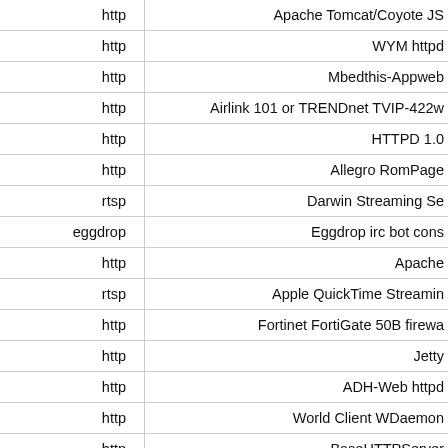| Protocol | Server/Description |
| --- | --- |
| http | Apache Tomcat/Coyote JS |
| http | WYM httpd |
| http | Mbedthis-Appweb |
| http | Airlink 101 or TRENDnet TVIP-422w |
| http | HTTPD 1.0 |
| http | Allegro RomPage |
| rtsp | Darwin Streaming Se |
| eggdrop | Eggdrop irc bot cons |
| http | Apache |
| rtsp | Apple QuickTime Streamin |
| http | Fortinet FortiGate 50B firewa |
| http | Jetty |
| http | ADH-Web httpd |
| http | World Client WDaemon |
| http | BaseHTTPServer |
| http | nginx |
| http | Apache |
| http | keywords 1.0.6 |